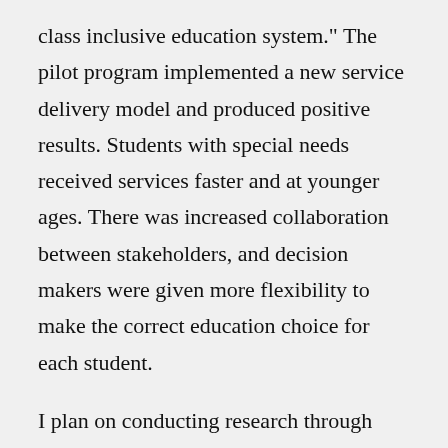class inclusive education system.” The pilot program implemented a new service delivery model and produced positive results. Students with special needs received services faster and at younger ages. There was increased collaboration between stakeholders, and decision makers were given more flexibility to make the correct education choice for each student.
I plan on conducting research through interviews with education leaders and professionals, observations in schools, and surveys completed by stakeholders including families and community members.  I hope to discover methods of improving the roles of stakeholders, collaboration, family/community